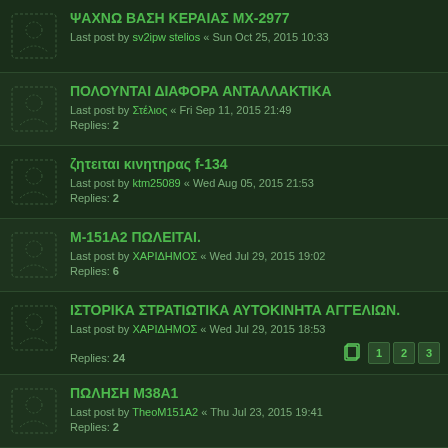ΨΑΧΝΩ ΒΑΣΗ ΚΕΡΑΙΑΣ MX-2977
Last post by sv2ipw stelios « Sun Oct 25, 2015 10:33
ΠΟΛΟΥΝΤΑΙ ΔΙΑΦΟΡΑ ΑΝΤΑΛΛΑΚΤΙΚΑ
Last post by Στέλιος « Fri Sep 11, 2015 21:49
Replies: 2
ζητειται κινητηρας f-134
Last post by ktm25089 « Wed Aug 05, 2015 21:53
Replies: 2
M-151A2 ΠΩΛΕΙΤΑΙ.
Last post by ΧΑΡΙΔΗΜΟΣ « Wed Jul 29, 2015 19:02
Replies: 6
ΙΣΤΟΡΙΚΑ ΣΤΡΑΤΙΩΤΙΚΑ ΑΥΤΟΚΙΝΗΤΑ ΑΓΓΕΛΙΩΝ.
Last post by ΧΑΡΙΔΗΜΟΣ « Wed Jul 29, 2015 18:53
Replies: 24 [pages: 1 2 3]
ΠΩΛΗΣΗ Μ38Α1
Last post by TheoM151A2 « Thu Jul 23, 2015 19:41
Replies: 2
DODGE M37 Power Wagon cargo 1953, πρώην Ε.Σ. στο EBAY.
Last post by Cruiserhead « Fri May 22, 2015 01:33
Replies: 4
LOOKING FOR 11X16 TIRES.